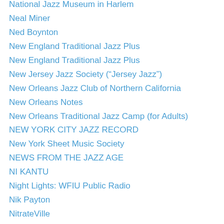National Jazz Museum in Harlem
Neal Miner
Ned Boynton
New England Traditional Jazz Plus
New England Traditional Jazz Plus
New Jersey Jazz Society (“Jersey Jazz”)
New Orleans Jazz Club of Northern California
New Orleans Notes
New Orleans Traditional Jazz Camp (for Adults)
NEW YORK CITY JAZZ RECORD
New York Sheet Music Society
NEWS FROM THE JAZZ AGE
NI KANTU
Night Lights: WFIU Public Radio
Nik Payton
NitrateVille
Noal Cohen’s Jazz History Website
NOJCNC (New Orleans Jazz Club of Northern California)
Norman Field
Old River Jazz Society